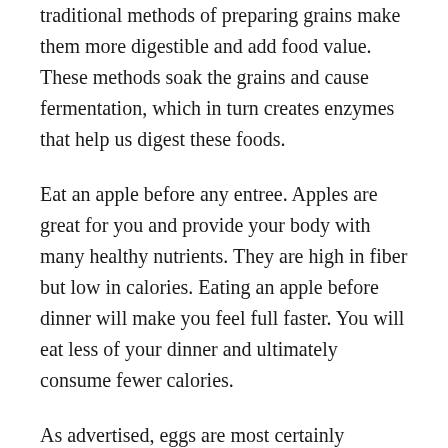traditional methods of preparing grains make them more digestible and add food value. These methods soak the grains and cause fermentation, which in turn creates enzymes that help us digest these foods.
Eat an apple before any entree. Apples are great for you and provide your body with many healthy nutrients. They are high in fiber but low in calories. Eating an apple before dinner will make you feel full faster. You will eat less of your dinner and ultimately consume fewer calories.
As advertised, eggs are most certainly incredible and edible, so never forget to use them in a diet. Egg whites contain zero fat, very few calories and